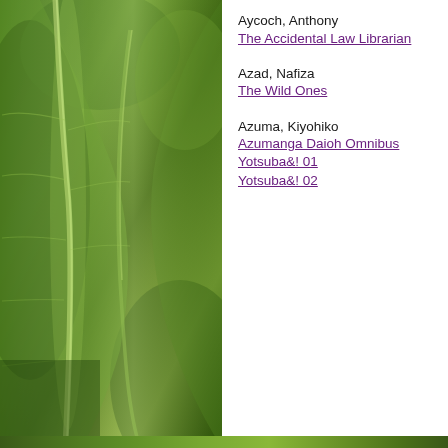[Figure (photo): Close-up photograph of green leaves with visible leaf veins, dark green tones with lighter highlights along the midrib]
Aycoch, Anthony
The Accidental Law Librarian
Azad, Nafiza
The Wild Ones
Azuma, Kiyohiko
Azumanga Daioh Omnibus
Yotsuba&! 01
Yotsuba&! 02
B
Baasansuren, Bolormaa
My Little Round House
Babbitt, Natalie
Tuck Everlasting
Babson, Marian
The Cat Who Wasn't a Dog
Bach, Ricahrd
There's No Such Place as Far Away